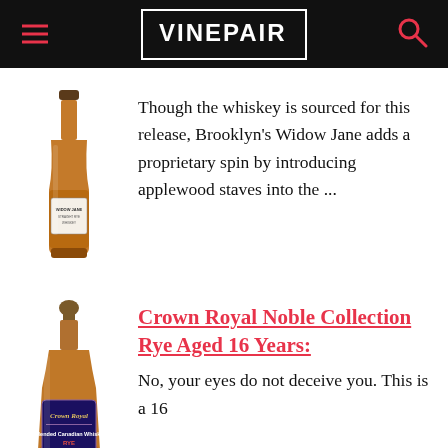VINEPAIR
[Figure (photo): Bottle of Widow Jane whiskey with amber liquid and label]
Though the whiskey is sourced for this release, Brooklyn's Widow Jane adds a proprietary spin by introducing applewood staves into the ...
[Figure (photo): Bottle of Crown Royal Noble Collection Rye Aged 16 Years with dark amber liquid]
Crown Royal Noble Collection Rye Aged 16 Years:
No, your eyes do not deceive you. This is a 16...